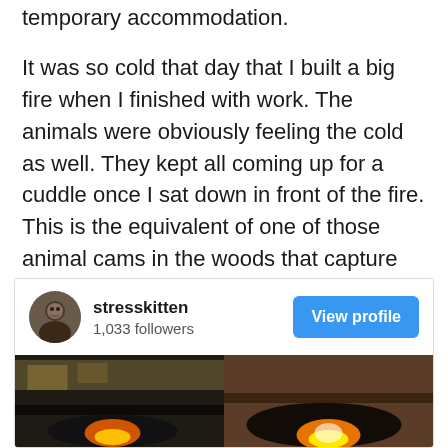temporary accommodation.
It was so cold that day that I built a big fire when I finished with work. The animals were obviously feeling the cold as well. They kept all coming up for a cuddle once I sat down in front of the fire. This is the equivalent of one of those animal cams in the woods that capture shots of the same spot throughout the course of an evening. Instead of bears and wolves I had Pomeranians and kitty cats in the Lisa cam.
[Figure (screenshot): Instagram profile card for 'stresskitten' with 1,033 followers and a 'View profile' button, followed by an image strip showing two fireplaces side by side.]